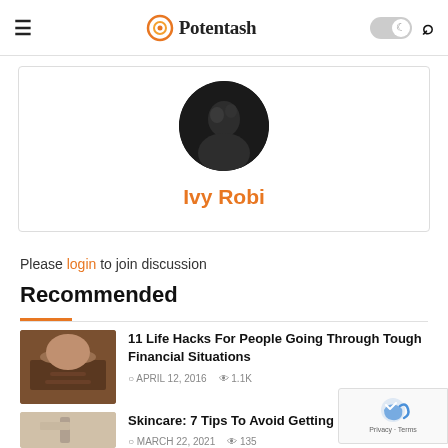Potentash
[Figure (photo): Circular profile photo of Ivy Robi, dark background portrait]
Ivy Robi
Please login to join discussion
Recommended
[Figure (photo): Thumbnail image of person in financial stress situation]
11 Life Hacks For People Going Through Tough Financial Situations
© APRIL 12, 2016  © 1.1K
[Figure (photo): Thumbnail image related to skincare/razor bumps]
Skincare: 7 Tips To Avoid Getting Razo...
© MARCH 22, 2021  © 135